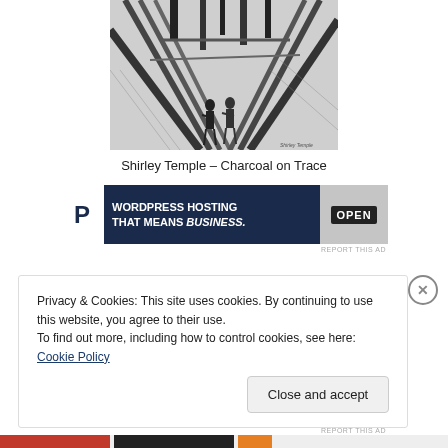[Figure (illustration): A charcoal drawing on trace paper showing an aerial/bird's-eye view of what appears to be a shipyard or construction yard with wooden beams and two human figures standing among the structures. The drawing is rendered in black and white with heavy shading and cross-hatching.]
Shirley Temple – Charcoal on Trace
[Figure (other): Advertisement banner for WordPress hosting service. Dark navy background with white 'P' logo box on the left, bold white text reading 'WORDPRESS HOSTING THAT MEANS BUSINESS.' in the center, and a photo of a person holding an OPEN sign on the right.]
Privacy & Cookies: This site uses cookies. By continuing to use this website, you agree to their use.
To find out more, including how to control cookies, see here: Cookie Policy
Close and accept